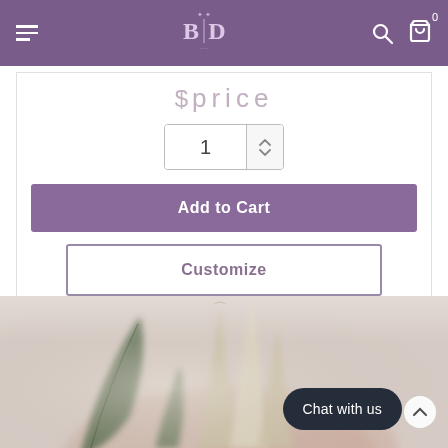B D [logo] — navigation header with hamburger, search, and cart icons
$price (partially visible)
1 (quantity selector)
Add to Cart
Customize
[Figure (photo): Blurred botanical photo showing dried green and white leaves/seed pods held in a hand, against a soft beige/pink background]
Chat with us